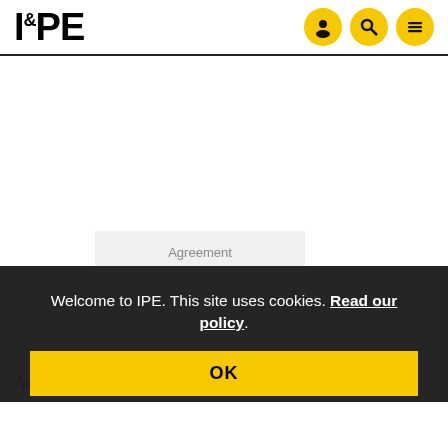IPE
Welcome to IPE. This site uses cookies. Read our policy.
OK
Agreement
According to Morgan Stanley researchers, the